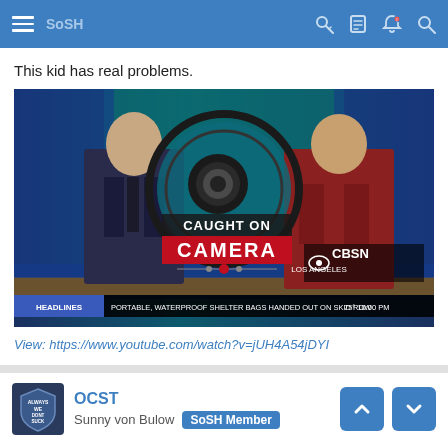SoSH
This kid has real problems.
[Figure (screenshot): Screenshot of a CBS News broadcast showing two anchors at a desk with 'Caught on Camera' graphic on screen. CBSN Los Angeles logo visible. Bottom ticker reads: HEADLINES | PORTABLE, WATERPROOF SHELTER BAGS HANDED OUT ON SKID ROW | 75° 10:00 PM]
View: https://www.youtube.com/watch?v=jUH4A54jDYI
OCST
Sunny von Bulow SoSH Member